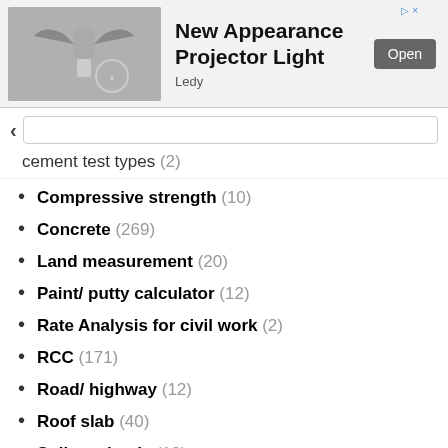[Figure (photo): Advertisement banner showing a projector light fixture with wings/bracket design (New Appearance Projector Light by Ledy) with an Open button]
cement test types (2)
Compressive strength (10)
Concrete (269)
Land measurement (20)
Paint/ putty calculator (12)
Rate Analysis for civil work (2)
RCC (171)
Road/ highway (12)
Roof slab (40)
Soil mechanic (10)